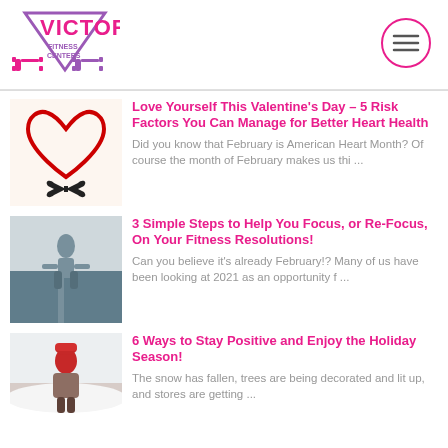[Figure (logo): Victory Fitness Centers logo with pink and purple triangle/V shape and dumbbells]
[Figure (other): Hamburger menu button circle icon in pink]
[Figure (illustration): Heart made of rope with bow, Valentine's Day themed image]
Love Yourself This Valentine's Day – 5 Risk Factors You Can Manage for Better Heart Health
Did you know that February is American Heart Month? Of course the month of February makes us thi ...
[Figure (photo): Woman runner crouching on a road in athletic wear]
3 Simple Steps to Help You Focus, or Re-Focus, On Your Fitness Resolutions!
Can you believe it's already February!? Many of us have been looking at 2021 as an opportunity f ...
[Figure (photo): Woman in red hat and brown jacket sitting outdoors in winter]
6 Ways to Stay Positive and Enjoy the Holiday Season!
The snow has fallen, trees are being decorated and lit up, and stores are getting ...